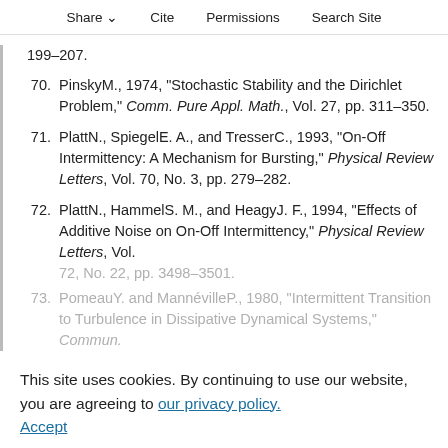Share  Cite  Permissions  Search Site
199–207.
70. PinskyM., 1974, "Stochastic Stability and the Dirichlet Problem," Comm. Pure Appl. Math., Vol. 27, pp. 311–350.
71. PlattN., SpiegelE. A., and TresserC., 1993, "On-Off Intermittency: A Mechanism for Bursting," Physical Review Letters, Vol. 70, No. 3, pp. 279–282.
72. PlattN., HammelS. M., and HeagyJ. F., 1994, "Effects of Additive Noise on On-Off Intermittency," Physical Review Letters, Vol. 72, No. 22, pp. 3498–3501.
73. PomeauY. and MannévilleP., 1980, "Intermittent Transition to Turbulence in Dissipative Dynamical Systems," Commun.
This site uses cookies. By continuing to use our website, you are agreeing to our privacy policy. Accept